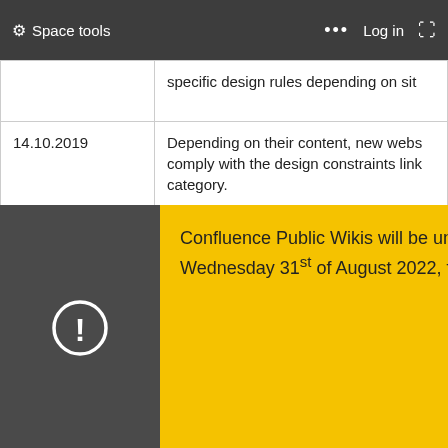Space tools  ...  Log in
| Date | Content |
| --- | --- |
|  | specific design rules depending on sit |
| 14.10.2019 | Depending on their content, new webs comply with the design constraints link category. |
| 14.10.2019 | New model defined to ensure the coh on's we d inspir ent, two ion web hree ne nised. T have been created to match various c that they come with their own design c |
Confluence Public Wikis will be under maintenance on Wednesday 31st of August 2022, from 10am to 11am.